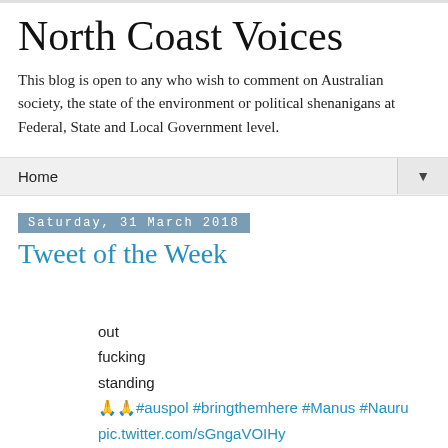North Coast Voices
This blog is open to any who wish to comment on Australian society, the state of the environment or political shenanigans at Federal, State and Local Government level.
Home ▼
Saturday, 31 March 2018
Tweet of the Week
out
fucking
standing
🙏🙏#auspol #bringthemhere #Manus #Nauru
pic.twitter.com/sGngaVOIHy
— person sentimonies (@CobCon) March 25